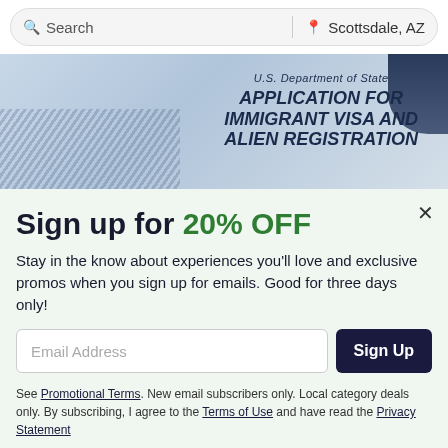Search | Scottsdale, AZ
[Figure (photo): Close-up of a U.S. Department of State Application for Immigrant Visa and Alien Registration document with glasses visible on the right side]
Sign up for 20% OFF
Stay in the know about experiences you'll love and exclusive promos when you sign up for emails. Good for three days only!
Email Address [input field] Sign Up [button]
See Promotional Terms. New email subscribers only. Local category deals only. By subscribing, I agree to the Terms of Use and have read the Privacy Statement